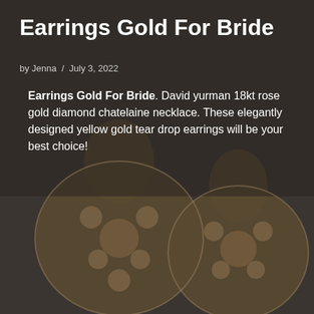[Figure (photo): Close-up photograph of two large gold teardrop/chandelier earrings encrusted with diamonds/crystals, set against a dark brownish-grey background]
Earrings Gold For Bride
by Jenna / July 3, 2022
Earrings Gold For Bride. David yurman 18kt rose gold diamond chatelaine necklace. These elegantly designed yellow gold tear drop earrings will be your best choice!